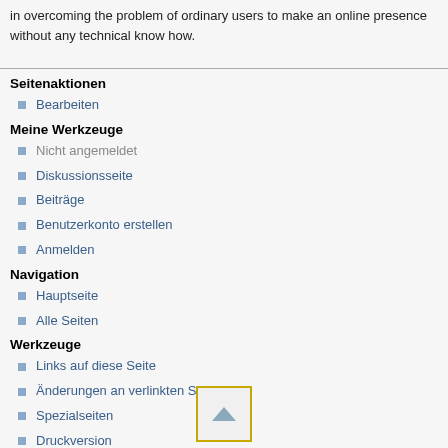in overcoming the problem of ordinary users to make an online presence without any technical know how.
Seitenaktionen
Bearbeiten
Meine Werkzeuge
Nicht angemeldet
Diskussionsseite
Beiträge
Benutzerkonto erstellen
Anmelden
Navigation
Hauptseite
Alle Seiten
Werkzeuge
Links auf diese Seite
Änderungen an verlinkten Seiten
Spezialseiten
Druckversion
Permanenter Link
Seiteninformationen
[Figure (other): Scroll-to-top button with upward-pointing triangle arrow icon inside a yellow-bordered box]